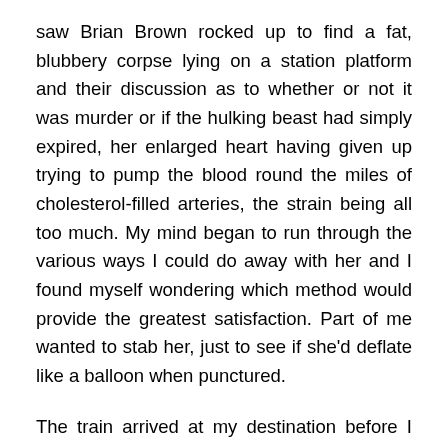saw Brian Brown rocked up to find a fat, blubbery corpse lying on a station platform and their discussion as to whether or not it was murder or if the hulking beast had simply expired, her enlarged heart having given up trying to pump the blood round the miles of cholesterol-filled arteries, the strain being all too much. My mind began to run through the various ways I could do away with her and I found myself wondering which method would provide the greatest satisfaction. Part of me wanted to stab her, just to see if she'd deflate like a balloon when punctured.
The train arrived at my destination before I had the time to act on my desire to bludgeon her to death with my laptop or to ram her Kindle so far down her throat that she asphyxiated. I disembarked and couldn't help feeling a bit cheated. Still, it was probably for the best.